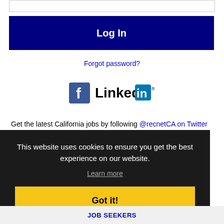[Figure (screenshot): White input box (password field)]
[Figure (screenshot): Dark navy blue Log In button]
Forgot password?
[Figure (logo): Facebook and LinkedIn social login icons]
Get the latest California jobs by following @recnetCA on Twitter
This website uses cookies to ensure you get the best experience on our website. Learn more
Got it!
JOB SEEKERS